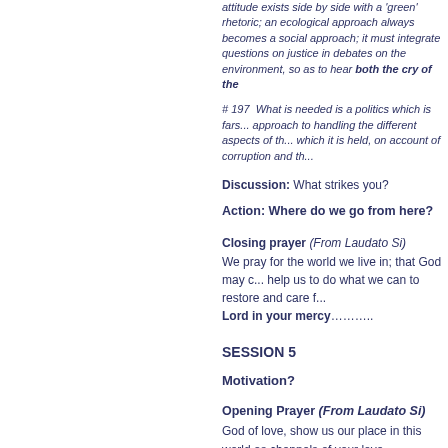attitude exists side by side with a 'green' rhetoric; an ecological approach always becomes a social approach; it must integrate questions on justice in debates on the environment, so as to hear both the cry of the
# 197  What is needed is a politics which is farsighted... approach to handling the different aspects of the... which it is held, on account of corruption and th...
Discussion: What strikes you?
Action: Where do we go from here?
Closing prayer (From Laudato Si)
We pray for the world we live in; that God may... help us to do what we can to restore and care f...
Lord in your mercy……..
SESSION 5
Motivation?
Opening Prayer (From Laudato Si)
God of love, show us our place in this world as channels of your love
for all the creatures of this earth,
for not one of them is forgotten in your sight.
Enlighten those who possess power and money